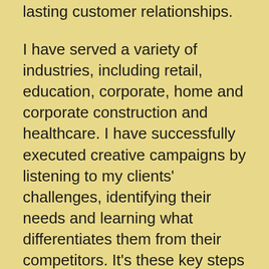lasting customer relationships.
I have served a variety of industries, including retail, education, corporate, home and corporate construction and healthcare. I have successfully executed creative campaigns by listening to my clients' challenges, identifying their needs and learning what differentiates them from their competitors. It's these key steps that make the difference and allow me to develop pieces that clearly and creatively deliver the most effective message and call to action. I work with a talented network of creative professionals, which enhances my creative design services.
My services include creative direction, graphic design, photography, videography, web development, and copywriting. I provide complete